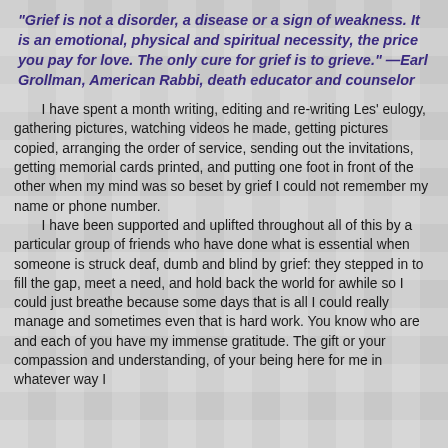"Grief is not a disorder, a disease or a sign of weakness. It is an emotional, physical and spiritual necessity, the price you pay for love. The only cure for grief is to grieve." —Earl Grollman, American Rabbi, death educator and counselor
I have spent a month writing, editing and re-writing Les' eulogy, gathering pictures, watching videos he made, getting pictures copied, arranging the order of service, sending out the invitations, getting memorial cards printed, and putting one foot in front of the other when my mind was so beset by grief I could not remember my name or phone number. I have been supported and uplifted throughout all of this by a particular group of friends who have done what is essential when someone is struck deaf, dumb and blind by grief: they stepped in to fill the gap, meet a need, and hold back the world for awhile so I could just breathe because some days that is all I could really manage and sometimes even that is hard work. You know who are and each of you have my immense gratitude. The gift or your compassion and understanding, of your being here for me in whatever way I